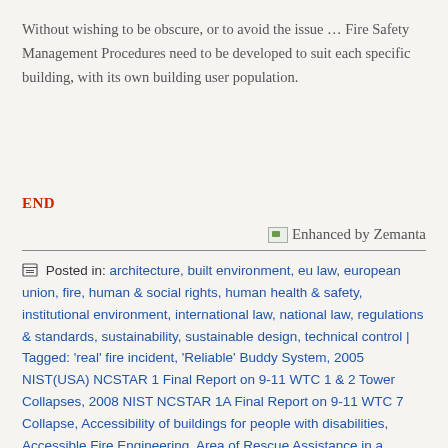Without wishing to be obscure, or to avoid the issue … Fire Safety Management Procedures need to be developed to suit each specific building, with its own building user population.
END
[Figure (illustration): Enhanced by Zemanta badge with small image icon]
Posted in: architecture, built environment, eu law, european union, fire, human & social rights, human health & safety, institutional environment, international law, national law, regulations & standards, sustainability, sustainable design, technical control | Tagged: 'real' fire incident, 'Reliable' Buddy System, 2005 NIST(USA) NCSTAR 1 Final Report on 9-11 WTC 1 & 2 Tower Collapses, 2008 NIST NCSTAR 1A Final Report on 9-11 WTC 7 Collapse, Accessibility of buildings for people with disabilities, Accessible Fire Engineering, Area of Rescue Assistance in a Building, compliance with legislation, Emergency service, essential